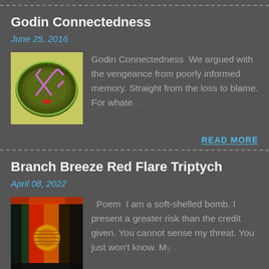Godin Connectedness
June 25, 2016
[Figure (illustration): Square illustration with olive/dark green background, a circular green glow, pink/purple rune-like or crossed arrows symbol, and a small red shape at bottom center.]
Godin Connectedness  We argued with the vengeance from poorly informed memory. Straight from the loss to blame. For whate... READ MORE
Branch Breeze Red Flare Triptych
April 08, 2022
[Figure (illustration): Dark scene with colorful rectangles in green, red, orange tones, a round glowing orange/gold circular object in the center, dark theatrical curtain-like shapes.]
Poem  I am a soft-shelled bomb. I present a greater risk than the credit given. You cannot sense my threat. You just won't know. My ...